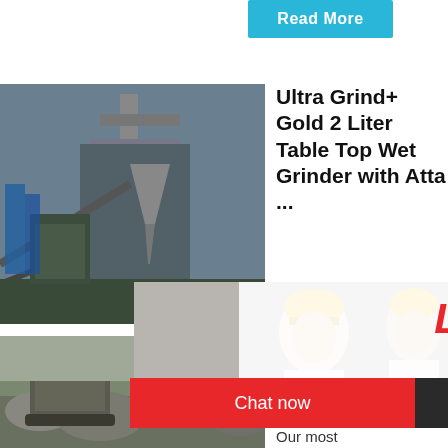[Figure (screenshot): Read More button - cyan/light blue rounded button at top center]
[Figure (photo): Mining/industrial machinery photo - cone crusher and conveyor equipment at mine site]
Ultra Grind+ Gold 2 Liter Table Top Wet Grinder with Atta ...
[Figure (photo): Live Chat popup overlay with workers in hard hats, LIVE CHAT text in red italic, subtitle 'Click for a Free Consultation', Chat now (red) and Chat later (dark) buttons]
[Figure (screenshot): Right sidebar with hour online text, jaw crusher image, Click me to chat>> button, Enquiry section, limingjlmofen text - all on cyan/blue background]
[Figure (photo): Mining excavation site with machinery in rocky terrain]
110V U - Perfe Ultra.
Our most